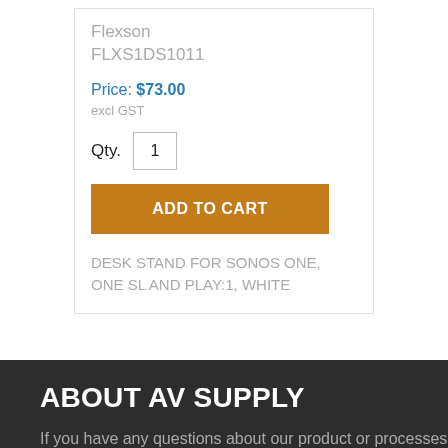Flexson
FLXS1DS1011
Price: $73.00
excl GST
Qty. 1
ADD TO CART
DESK STAND FOR SONOS ONE, ONE SL AND PLAY:1, WHITE
ABOUT AV SUPPLY
If you have any questions about our product or processes